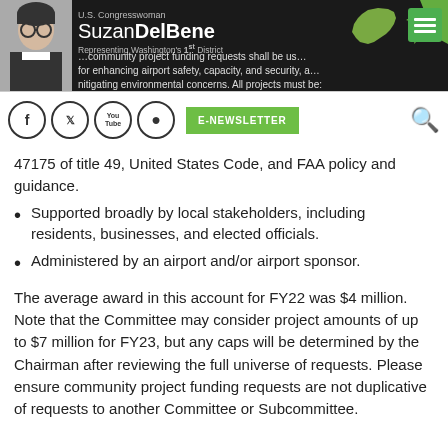U.S. Congresswoman Suzan DelBene – Representing Washington's 1st District
community project funding requests shall be used for enhancing airport safety, capacity, and security, and mitigating environmental concerns. All projects must be:
In compliance with sections 47101 to 47175 of title 49, United States Code, and FAA policy and guidance.
Supported broadly by local stakeholders, including residents, businesses, and elected officials.
Administered by an airport and/or airport sponsor.
The average award in this account for FY22 was $4 million. Note that the Committee may consider project amounts of up to $7 million for FY23, but any caps will be determined by the Chairman after reviewing the full universe of requests. Please ensure community project funding requests are not duplicative of requests to another Committee or Subcommittee.